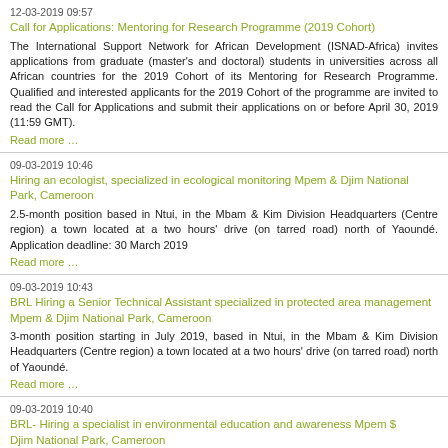12-03-2019 09:57
Call for Applications: Mentoring for Research Programme (2019 Cohort)
The International Support Network for African Development (ISNAD-Africa) invites applications from graduate (master's and doctoral) students in universities across all African countries for the 2019 Cohort of its Mentoring for Research Programme. Qualified and interested applicants for the 2019 Cohort of the programme are invited to read the Call for Applications and submit their applications on or before April 30, 2019 (11:59 GMT).
Read more …
09-03-2019 10:46
Hiring an ecologist, specialized in ecological monitoring Mpem & Djim National Park, Cameroon
2.5-month position based in Ntui, in the Mbam & Kim Division Headquarters (Centre region) a town located at a two hours' drive (on tarred road) north of Yaoundé. Application deadline: 30 March 2019
Read more …
09-03-2019 10:43
BRL Hiring a Senior Technical Assistant specialized in protected area management Mpem & Djim National Park, Cameroon
3-month position starting in July 2019, based in Ntui, in the Mbam & Kim Division Headquarters (Centre region) a town located at a two hours' drive (on tarred road) north of Yaoundé.
Read more …
09-03-2019 10:40
BRL- Hiring a specialist in environmental education and awareness Mpem $ Djim National Park, Cameroon